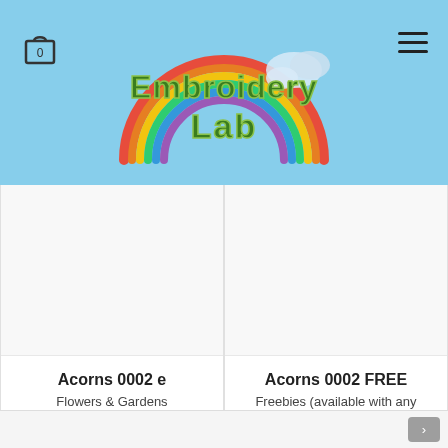[Figure (logo): Embroidery Lab website header with sky blue background, rainbow arc graphic, cloud embroidery graphic, shopping bag icon (cart with 0), and hamburger menu icon. The logo text reads 'Embroidery Lab' in green dotted bubble letters.]
[Figure (photo): White/blank product image placeholder for Acorns 0002 e embroidery pattern]
Acorns 0002 e
Flowers & Gardens
$3.00
[Figure (photo): White/blank product image placeholder for Acorns 0002 FREE embroidery pattern]
Acorns 0002 FREE
Freebies (available with any purchase)
$0.00